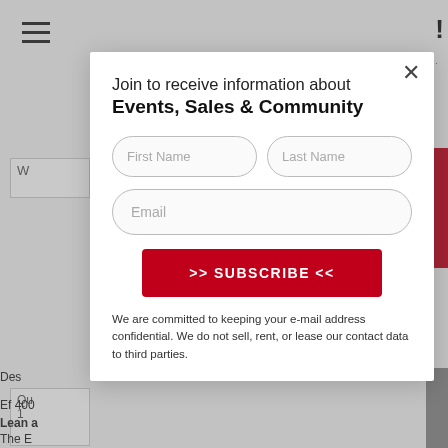[Figure (screenshot): Website modal popup for email subscription. Contains a form with First Name, Last Name, and Email fields, a red Subscribe button, and privacy text. Background shows partial webpage content including hamburger menu, search bar, quantity selector, and product description text.]
Join to receive information about Events, Sales & Community
First Name
Last Name
Email
>> SUBSCRIBE <<
We are committed to keeping your e-mail address confidential. We do not sell, rent, or lease our contact data to third parties.